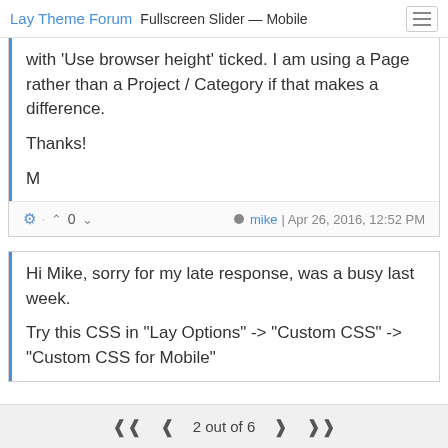Fullscreen Slider — Mobile | Lay Theme Forum
with 'Use browser height' ticked. I am using a Page rather than a Project / Category if that makes a difference.

Thanks!

M
mike | Apr 26, 2016, 12:52 PM
Hi Mike, sorry for my late response, was a busy last week.

Try this CSS in "Lay Options" -> "Custom CSS" -> "Custom CSS for Mobile"
2 out of 6